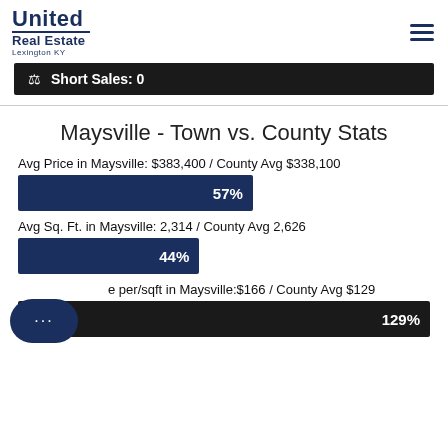United Real Estate Lexington KY
Short Sales: 0
Maysville - Town vs. County Stats
Avg Price in Maysville: $383,400 / County Avg $338,100
[Figure (bar-chart): Avg Price bar]
Avg Sq. Ft. in Maysville: 2,314 / County Avg 2,626
[Figure (bar-chart): Avg Sq Ft bar]
Price per/sqft in Maysville:$166 / County Avg $129
[Figure (bar-chart): Price per sqft bar]